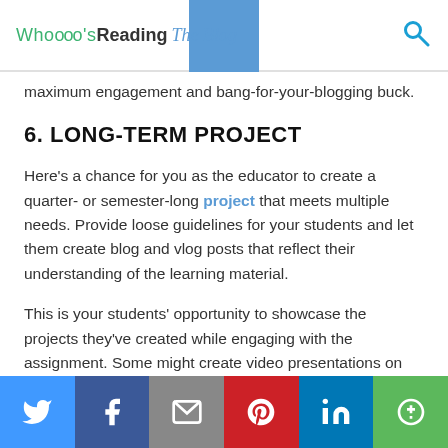Whooos Reading The Blog
maximum engagement and bang-for-your-blogging buck.
6. LONG-TERM PROJECT
Here's a chance for you as the educator to create a quarter- or semester-long project that meets multiple needs. Provide loose guidelines for your students and let them create blog and vlog posts that reflect their understanding of the learning material.
This is your students' opportunity to showcase the projects they've created while engaging with the assignment. Some might create video presentations on
Social sharing bar: Twitter, Facebook, Email, Pinterest, LinkedIn, More